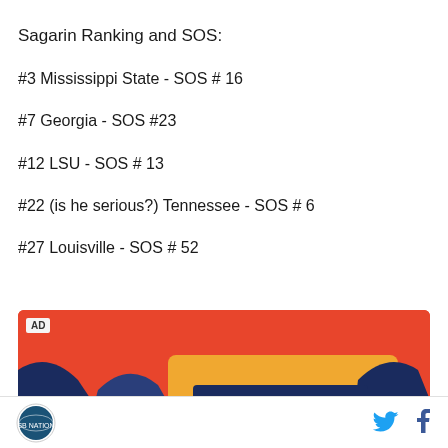Sagarin Ranking and SOS:
#3 Mississippi State - SOS # 16
#7 Georgia - SOS #23
#12 LSU - SOS # 13
#22 (is he serious?) Tennessee - SOS # 6
#27 Louisville - SOS # 52
[Figure (photo): Advertisement banner with Ben & Jerry's branding on a red background]
Site logo, Twitter and Facebook social icons